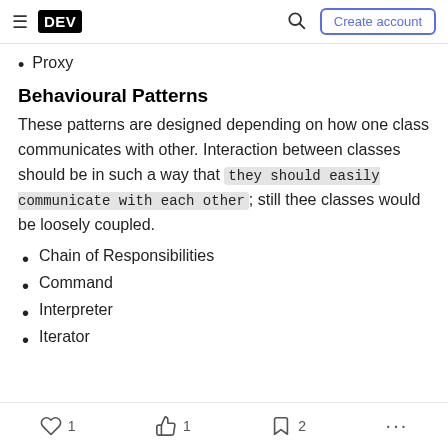DEV — Create account
Proxy
Behavioural Patterns
These patterns are designed depending on how one class communicates with other. Interaction between classes should be in such a way that they should easily communicate with each other; still thee classes would be loosely coupled.
Chain of Responsibilities
Command
Interpreter
Iterator
1   1   2   ...